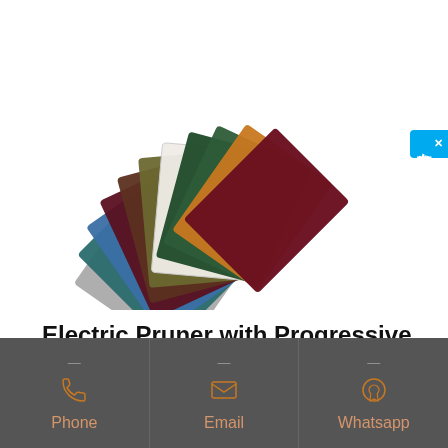[Figure (photo): Fan arrangement of colored abrasive/scouring pads in various colors (burgundy, dark red, green, teal, blue, brown, orange, white, dark green, olive, gray)]
Electric Pruner with Progressive function 40MM cutting CE | groundshop
Enjoy Free Shipping Worldwide! Limited Time Sale Easy Return. Shop Quality & Best Tools
Phone | Email | Whatsapp